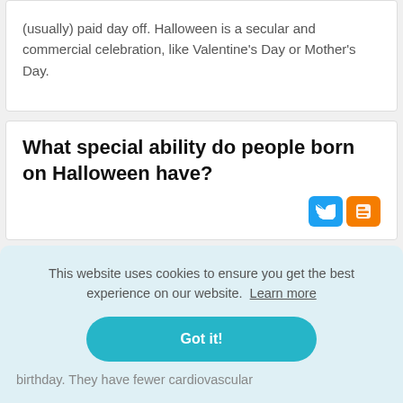(usually) paid day off. Halloween is a secular and commercial celebration, like Valentine's Day or Mother's Day.
What special ability do people born on Halloween have?
This website uses cookies to ensure you get the best experience on our website. Learn more
Got it!
birthday. They have fewer cardiovascular